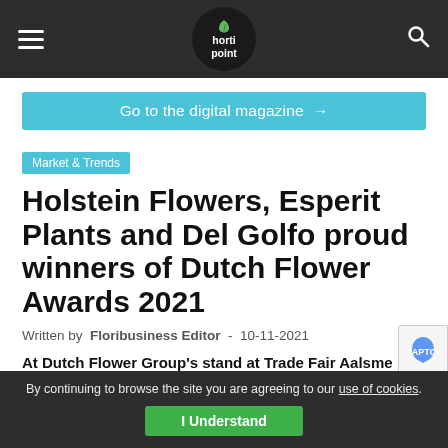hortipoint (navigation bar with logo, hamburger menu, and search icon)
Go to the digital magazine →
Market & Trends
Holstein Flowers, Esperit Plants and Del Golfo proud winners of Dutch Flower Awards 2021
Written by Floribusiness Editor - 10-11-2021
At Dutch Flower Group's stand at Trade Fair Aalsme
By continuing to browse the site you are agreeing to our use of cookies. I Understand